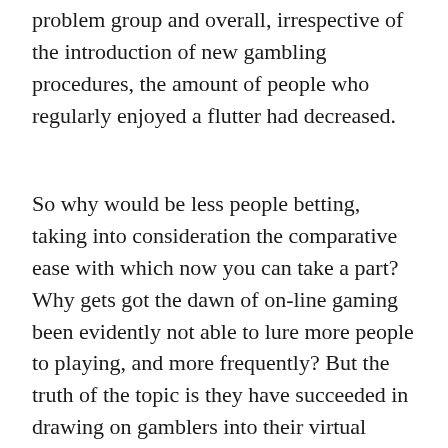problem group and overall, irrespective of the introduction of new gambling procedures, the amount of people who regularly enjoyed a flutter had decreased.
So why would be less people betting, taking into consideration the comparative ease with which now you can take a part? Why gets got the dawn of on-line gaming been evidently not able to lure more people to playing, and more frequently? But the truth of the topic is they have succeeded in drawing on gamblers into their virtual casinos. Aside from a significant decline in those playing the federal lottery, another form of gambling has seen a constant rise on the figures of 1999.